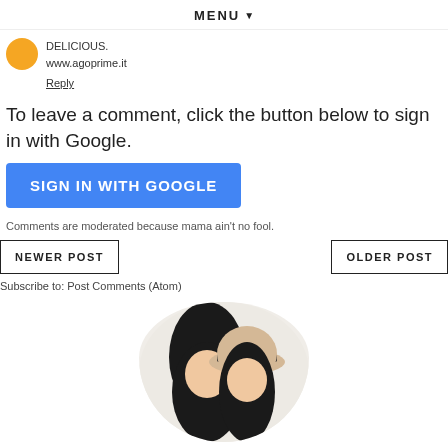MENU ▼
DELICIOUS.
www.agoprime.it
Reply
To leave a comment, click the button below to sign in with Google.
SIGN IN WITH GOOGLE
Comments are moderated because mama ain't no fool.
NEWER POST
OLDER POST
Subscribe to: Post Comments (Atom)
[Figure (photo): Circular cropped photo showing two people, one wearing a straw hat with a dark band, appearing to kiss or nuzzle.]